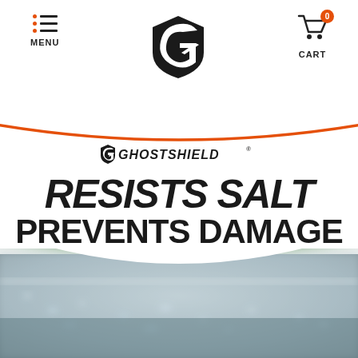MENU | GHOSTSHIELD LOGO | CART 0
[Figure (logo): Ghostshield brand logo with shield and G icon, text GHOSTSHIELD with registered trademark]
RESISTS SALT PREVENTS DAMAGE
[Figure (photo): Blurred background photo of wet concrete or pavement surface with salt crystals, green grass in background, taken in outdoor winter/rain conditions]